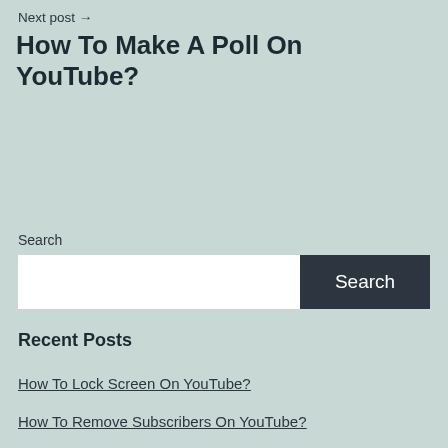Next post →
How To Make A Poll On YouTube?
Search
Search
Recent Posts
How To Lock Screen On YouTube?
How To Remove Subscribers On YouTube?